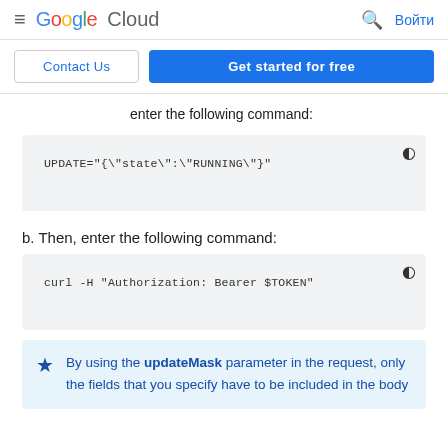Google Cloud — Войти
Contact Us  Get started for free
enter the following command:
UPDATE="{\"state\":\"RUNNING\"}"
b. Then, enter the following command:
curl -H "Authorization: Bearer $TOKEN"
By using the updateMask parameter in the request, only the fields that you specify have to be included in the body